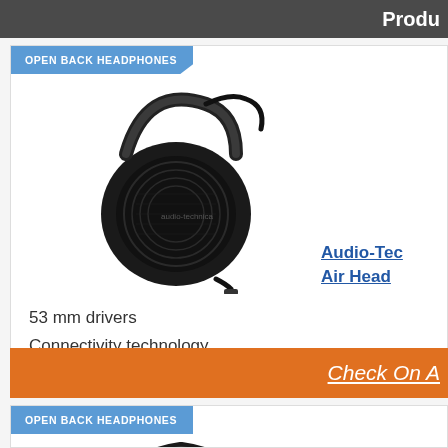Produ
OPEN BACK HEADPHONES
[Figure (photo): Black open-back headphones with cable and 3.5mm jack plug]
Audio-Tec
Air Head
53 mm drivers
Connectivity technology
700 mW input power
Check On A
OPEN BACK HEADPHONES
[Figure (photo): Black open-back headphones, partial view from below]